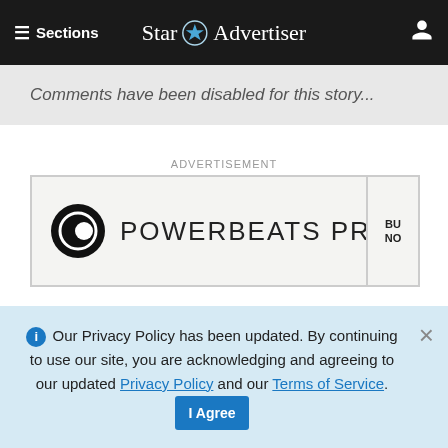≡ Sections  Star ✦ Advertiser
Comments have been disabled for this story...
ADVERTISEMENT
[Figure (screenshot): Beats Powerbeats Pro advertisement banner showing the Beats logo and text 'POWERBEATS PRO' with a 'BUY NOW' button on the right edge]
ⓘ Our Privacy Policy has been updated. By continuing to use our site, you are acknowledging and agreeing to our updated Privacy Policy and our Terms of Service. I Agree